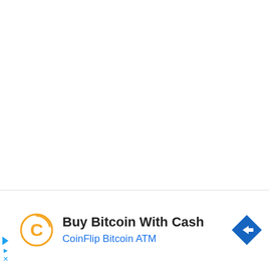IMPCL Recruitment 2022-23: All the interested
idates searching for IMPCL jobs 2022 in India can
[Figure (infographic): Advertisement banner: Buy Bitcoin With Cash - CoinFlip Bitcoin ATM, with CoinFlip logo (stylized C) on left and a blue diamond-shaped navigation icon on the right]